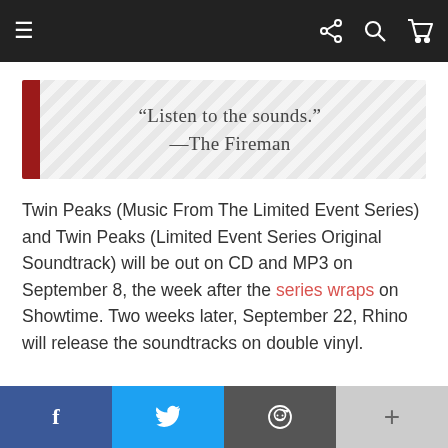Navigation bar with menu, share, search, and cart icons
[Figure (other): Pull quote block with chevron background pattern, red left bar, and quote text: "Listen to the sounds." —The Fireman]
Twin Peaks (Music From The Limited Event Series) and Twin Peaks (Limited Event Series Original Soundtrack) will be out on CD and MP3 on September 8, the week after the series wraps on Showtime. Two weeks later, September 22, Rhino will release the soundtracks on double vinyl.
Share bar: Facebook, Twitter, Reddit, More (+)